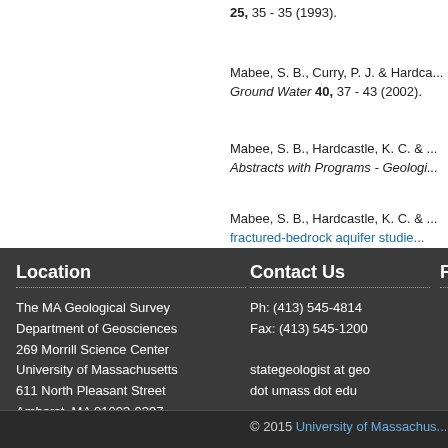25, 35 - 35 (1993).
Mabee, S. B., Curry, P. J. & Hardca... Ground Water 40, 37 - 43 (2002).
Mabee, S. B., Hardcastle, K. C. & ... Abstracts with Programs - Geologi...
Mabee, S. B., Hardcastle, K. C. & ... fractured-bedrock aquifer studie...
Location
The MA Geological Survey
Department of Geosciences
269 Morrill Science Center
University of Massachusetts
611 North Pleasant Street
Amherst, MA 01003-9297
Contact Us
Ph: (413) 545-4814
Fax: (413) 545-1200

stategeologist at geo
dot umass dot edu
Follo
© 2015 University of Massachus...